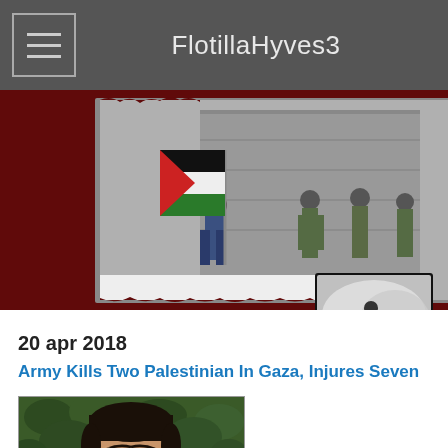FlotillaHyves3
[Figure (photo): Banner with dark red background showing a Palestinian child holding a large Palestinian flag running in front of soldiers and a wall; smaller inset photo of press photographer in smoke on the right with 'Press' label]
20 apr 2018
Army Kills Two Palestinian In Gaza, Injures Seven
[Figure (photo): Close-up portrait photo of a young man with dark hair against green foliage background]